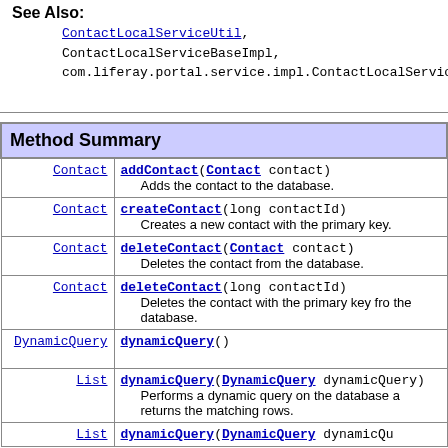See Also:
ContactLocalServiceUtil, ContactLocalServiceBaseImpl, com.liferay.portal.service.impl.ContactLocalService
| Type | Method |
| --- | --- |
| Contact | addContact(Contact contact)
          Adds the contact to the database. |
| Contact | createContact(long contactId)
          Creates a new contact with the primary key. |
| Contact | deleteContact(Contact contact)
          Deletes the contact from the database. |
| Contact | deleteContact(long contactId)
          Deletes the contact with the primary key from the database. |
| DynamicQuery | dynamicQuery() |
| List | dynamicQuery(DynamicQuery dynamicQuery)
          Performs a dynamic query on the database and returns the matching rows. |
| List | dynamicQuery(DynamicQuery dynamicQuery |